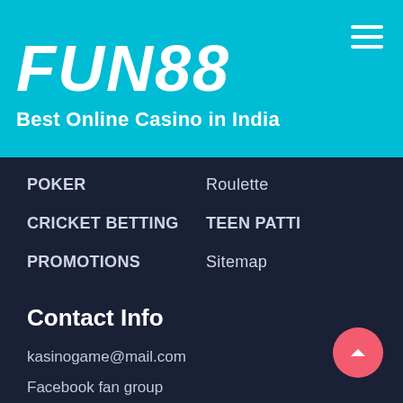[Figure (logo): FUN88 logo with tagline 'Best Online Casino in India' on cyan/teal background with hamburger menu icon]
POKER
Roulette
CRICKET BETTING
TEEN PATTI
PROMOTIONS
Sitemap
Contact Info
kasinogame@mail.com
Facebook fan group